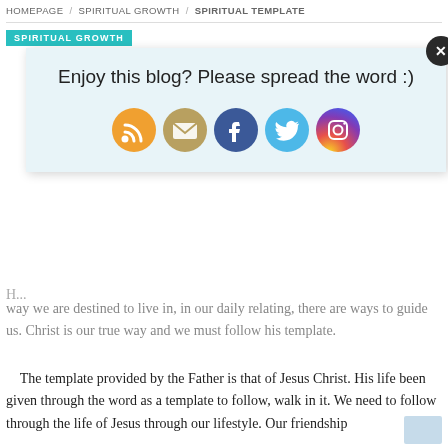HOMEPAGE / SPIRITUAL GROWTH / SPIRITUAL TEMPLATE
SPIRITUAL GROWTH
[Figure (infographic): Popup overlay box on light blue background reading 'Enjoy this blog? Please spread the word :)' with five social media share icons: RSS (orange), Email (tan/gold), Facebook (blue), Twitter (light blue), Instagram (purple gradient). A dark circular close button with X is in the top-right corner.]
way we are destined to live in, in our daily relating, there are ways to guide us. Christ is our true way and we must follow his template.
The template provided by the Father is that of Jesus Christ. His life been given through the word as a template to follow, walk in it. We need to follow through the life of Jesus through our lifestyle. Our friendship